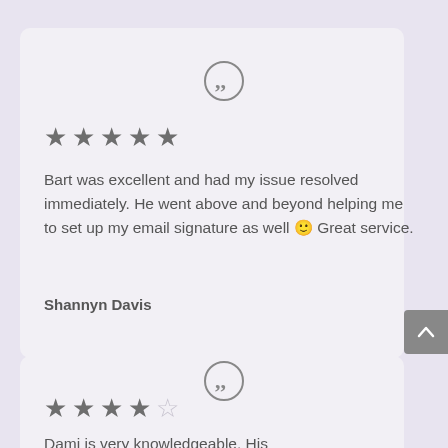[Figure (illustration): Quotation mark icon inside a circle — opening the first review card]
★★★★★
Bart was excellent and had my issue resolved immediately. He went above and beyond helping me to set up my email signature as well 🙂 Great service.
Shannyn Davis
[Figure (illustration): Quotation mark icon inside a circle — opening the second review card]
★★★★☆
Dami is very knowledgeable. His